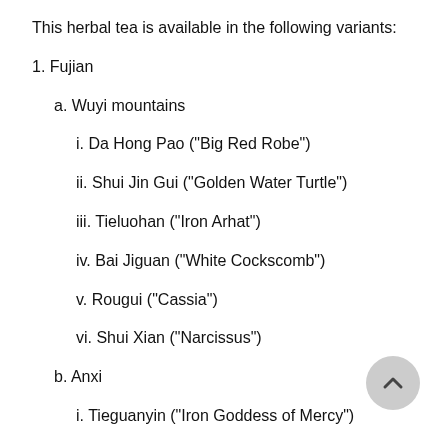This herbal tea is available in the following variants:
1. Fujian
a. Wuyi mountains
i. Da Hong Pao ("Big Red Robe")
ii. Shui Jin Gui ("Golden Water Turtle")
iii. Tieluohan ("Iron Arhat")
iv. Bai Jiguan ("White Cockscomb")
v. Rougui ("Cassia")
vi. Shui Xian ("Narcissus")
b. Anxi
i. Tieguanyin ("Iron Goddess of Mercy")
ii. Huangjin Gui ("Golden Cassia" or "Golden Osmanthus")